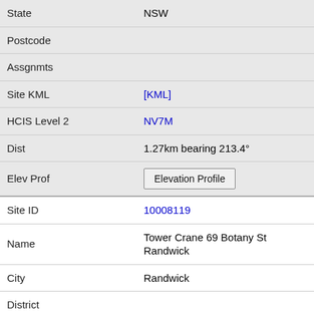| Field | Value |
| --- | --- |
| State | NSW |
| Postcode |  |
| Assgnmts |  |
| Site KML | [KML] |
| HCIS Level 2 | NV7M |
| Dist | 1.27km bearing 213.4° |
| Elev Prof | Elevation Profile |
| Site ID | 10008119 |
| Name | Tower Crane 69 Botany St Randwick |
| City | Randwick |
| District |  |
| State | NSW |
| Postcode |  |
| Assgnmts |  |
| Site KML | [KML] |
| HCIS Level 2 | NV7M |
| Dist | 1.27km bearing 176.6° |